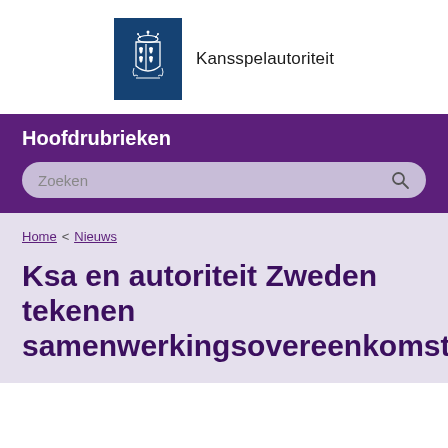[Figure (logo): Kansspelautoriteit logo: dark blue vertical bar with Dutch royal coat of arms in white, next to the text 'Kansspelautoriteit']
Hoofdrubrieken
Zoeken
Home < Nieuws
Ksa en autoriteit Zweden tekenen samenwerkingsovereenkomst